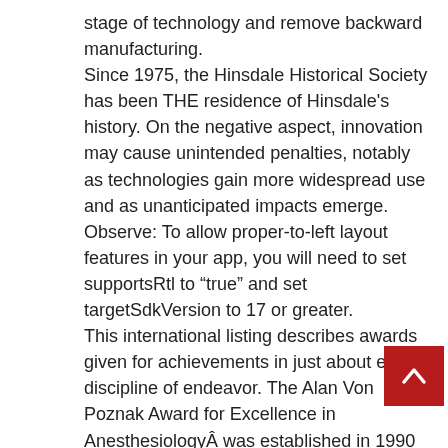stage of technology and remove backward manufacturing.
Since 1975, the Hinsdale Historical Society has been THE residence of Hinsdale's history. On the negative aspect, innovation may cause unintended penalties, notably as technologies gain more widespread use and as unanticipated impacts emerge. Observe: To allow proper-to-left layout features in your app, you will need to set supportsRtl to “true” and set targetSdkVersion to 17 or greater.
This international listing describes awards given for achievements in just about each discipline of endeavor. The Alan Von Poznak Award for Excellence in AnesthesiologyÂ was established in 1990 by the Division of Anesthesiology in recognition of Dr. Alan Von Poznak’s contribution and dedication to the medical schooling of Weill Cornell Medical School students.